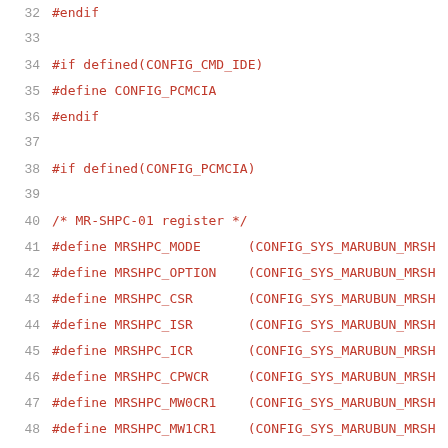32  #endif
33
34  #if defined(CONFIG_CMD_IDE)
35  #define CONFIG_PCMCIA
36  #endif
37
38  #if defined(CONFIG_PCMCIA)
39
40  /* MR-SHPC-01 register */
41  #define MRSHPC_MODE      (CONFIG_SYS_MARUBUN_MRSH
42  #define MRSHPC_OPTION    (CONFIG_SYS_MARUBUN_MRSH
43  #define MRSHPC_CSR       (CONFIG_SYS_MARUBUN_MRSH
44  #define MRSHPC_ISR       (CONFIG_SYS_MARUBUN_MRSH
45  #define MRSHPC_ICR       (CONFIG_SYS_MARUBUN_MRSH
46  #define MRSHPC_CPWCR     (CONFIG_SYS_MARUBUN_MRSH
47  #define MRSHPC_MW0CR1    (CONFIG_SYS_MARUBUN_MRSH
48  #define MRSHPC_MW1CR1    (CONFIG_SYS_MARUBUN_MRSH
49  #define MRSHPC_IOWCR1    (CONFIG_SYS_MARUBUN_MRSH
50  #define MRSHPC_MW0CR2    (CONFIG_SYS_MARUBUN_MRSH
51  #define MRSHPC_MW1CR2    (CONFIG_SYS_MARUBUN_MRSH
52  #define MRSHPC_IOWCR2    (CONFIG_SYS_MARUBUN_MRSH